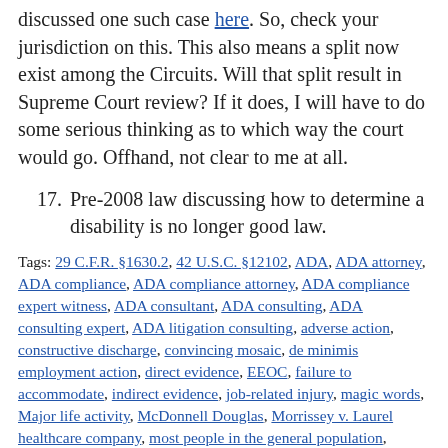discussed one such case here. So, check your jurisdiction on this. This also means a split now exist among the Circuits. Will that split result in Supreme Court review? If it does, I will have to do some serious thinking as to which way the court would go. Offhand, not clear to me at all.
17. Pre-2008 law discussing how to determine a disability is no longer good law.
Tags: 29 C.F.R. §1630.2, 42 U.S.C. §12102, ADA, ADA attorney, ADA compliance, ADA compliance attorney, ADA compliance expert witness, ADA consultant, ADA consulting, ADA consulting expert, ADA litigation consulting, adverse action, constructive discharge, convincing mosaic, de minimis employment action, direct evidence, EEOC, failure to accommodate, indirect evidence, job-related injury, magic words, Major life activity, McDonnell Douglas, Morrissey v. Laurel healthcare company, most people in the general population, motivating factor, prima facie, reasonable accommodation, record, Regarded as, retaliation